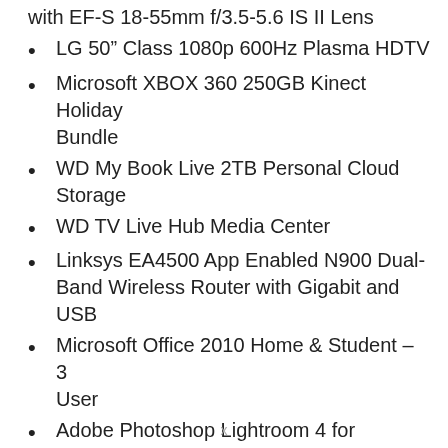with EF-S 18-55mm f/3.5-5.6 IS II Lens
LG 50″ Class 1080p 600Hz Plasma HDTV
Microsoft XBOX 360 250GB Kinect Holiday Bundle
WD My Book Live 2TB Personal Cloud Storage
WD TV Live Hub Media Center
Linksys EA4500 App Enabled N900 Dual-Band Wireless Router with Gigabit and USB
Microsoft Office 2010 Home & Student – 3 User
Adobe Photoshop Lightroom 4 for Windows & Mac – Full VersionWD My